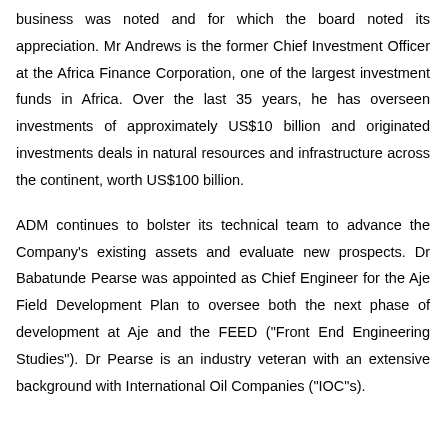business was noted and for which the board noted its appreciation. Mr Andrews is the former Chief Investment Officer at the Africa Finance Corporation, one of the largest investment funds in Africa. Over the last 35 years, he has overseen investments of approximately US$10 billion and originated investments deals in natural resources and infrastructure across the continent, worth US$100 billion.
ADM continues to bolster its technical team to advance the Company's existing assets and evaluate new prospects. Dr Babatunde Pearse was appointed as Chief Engineer for the Aje Field Development Plan to oversee both the next phase of development at Aje and the FEED ("Front End Engineering Studies"). Dr Pearse is an industry veteran with an extensive background with International Oil Companies ("IOC"s).